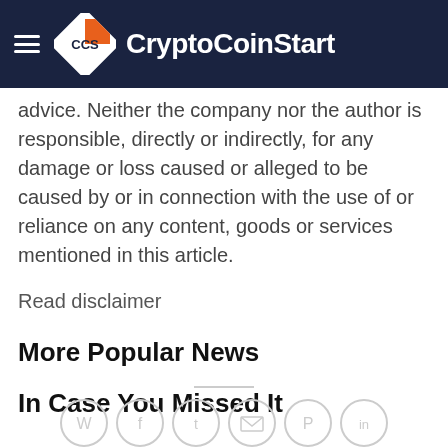CryptoCoinStart
advice. Neither the company nor the author is responsible, directly or indirectly, for any damage or loss caused or alleged to be caused by or in connection with the use of or reliance on any content, goods or services mentioned in this article.
Read disclaimer
More Popular News
In Case You Missed It
[Figure (other): Social share icons: WhatsApp, Facebook, Twitter, Email, Pinterest, LinkedIn]